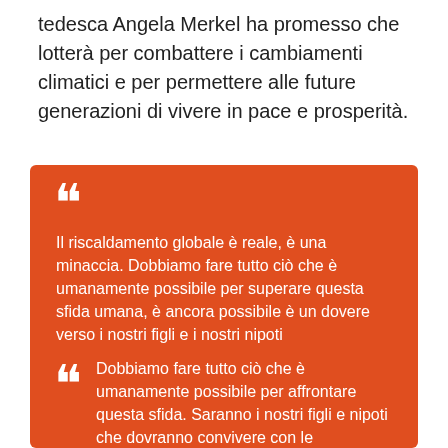tedesca Angela Merkel ha promesso che lotterà per combattere i cambiamenti climatici e per permettere alle future generazioni di vivere in pace e prosperità.
Il riscaldamento globale è reale, è una minaccia. Dobbiamo fare tutto ciò che è umanamente possibile per superare questa sfida umana, è ancora possibile è un dovere verso i nostri figli e i nostri nipoti
Dobbiamo fare tutto ciò che è umanamente possibile per affrontare questa sfida. Saranno i nostri figli e nipoti che dovranno convivere con le conseguenze di quello che facciamo o non facciamo oggi. Per questo userò tutta la mia forza per assicurarmi che la